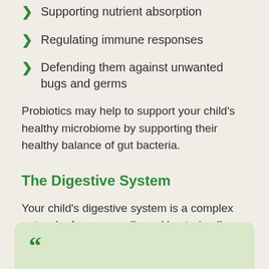Supporting nutrient absorption
Regulating immune responses
Defending them against unwanted bugs and germs
Probiotics may help to support your child's healthy microbiome by supporting their healthy balance of gut bacteria.
The Digestive System
Your child's digestive system is a complex network of organs, cells and bacteria all working in unison to help them process the food they eat.
[Figure (illustration): Green quote box with opening quotation marks, partially visible at bottom of page]